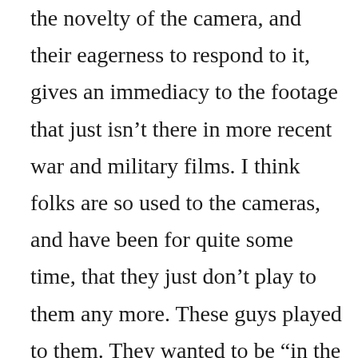the novelty of the camera, and their eagerness to respond to it, gives an immediacy to the footage that just isn't there in more recent war and military films. I think folks are so used to the cameras, and have been for quite some time, that they just don't play to them any more. These guys played to them. They wanted to be “in the pictures.” And as a result, I looked them in the eye.